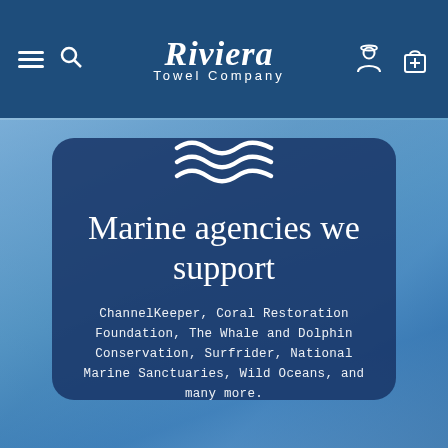Riviera Towel Company
Marine agencies we support
ChannelKeeper, Coral Restoration Foundation, The Whale and Dolphin Conservation, Surfrider, National Marine Sanctuaries, Wild Oceans, and many more.